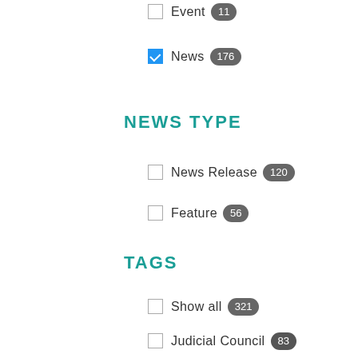Event 11
News 176 (checked)
NEWS TYPE
News Release 120
Feature 56
TAGS
Show all 321
Judicial Council 83
Committee On Judicial Ethics Opinions 54
Show more